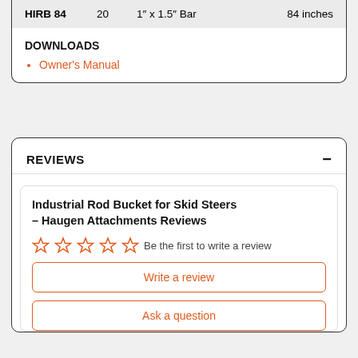| Model | Capacity | Bar Size | Width |
| --- | --- | --- | --- |
| HIRB 84 | 20 | 1″ x 1.5″ Bar | 84 inches |
DOWNLOADS
Owner's Manual
REVIEWS
Industrial Rod Bucket for Skid Steers – Haugen Attachments Reviews
Be the first to write a review
Write a review
Ask a question